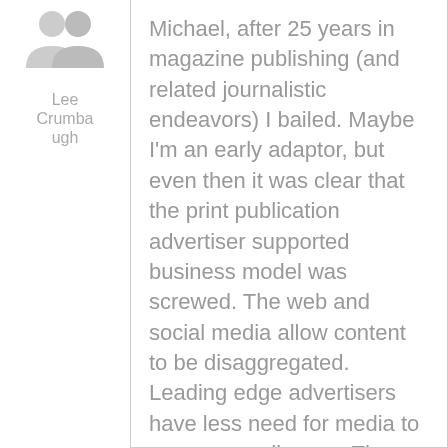[Figure (illustration): Gray silhouette avatar icon (two overlapping person shapes) serving as a user profile image]
Lee Crumbaugh
Michael, after 25 years in magazine publishing (and related journalistic endeavors) I bailed. Maybe I'm an early adaptor, but even then it was clear that the print publication advertiser supported business model was screwed. The web and social media allow content to be disaggregated. Leading edge advertisers have less need for media to serve up audiences. The